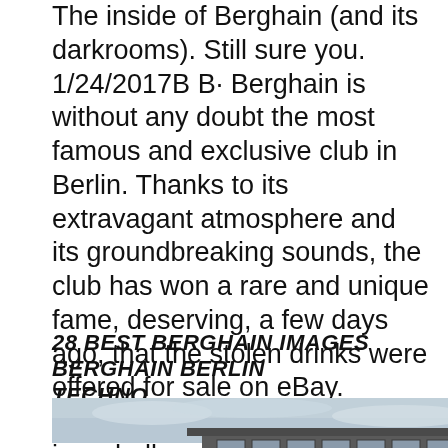The inside of Berghain (and its darkrooms). Still sure you. 1/24/2017В В· Berghain is without any doubt the most famous and exclusive club in Berlin. Thanks to its extravagant atmosphere and its groundbreaking sounds, the club has won a rare and unique fame, deserving, a few days ago, that the stolen drinks were offered for sale on eBay. ItвЂ™s no myth that Berghain is a challenge to get into., Oct 21, 2015- Explore stauw838's board "Berghain" on Pinterest. See more ideas about Berghain, Berlin and Techno..
28 BEST BERGHAIN IMAGES BERGHAIN BERLIN TECHNO
[Figure (photo): Photograph of a large industrial building (Berghain) against a cloudy sky, with a bare tree visible on the right side.]